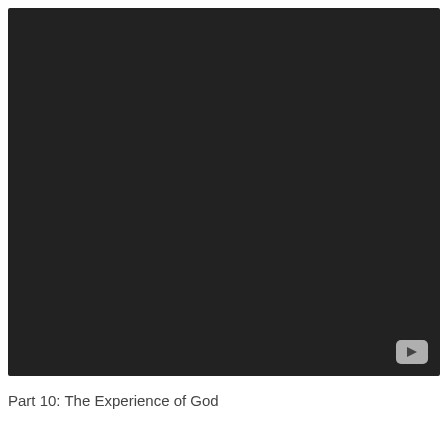[Figure (screenshot): A dark/black video thumbnail with a YouTube-style play button in the bottom-right corner.]
Part 10: The Experience of God